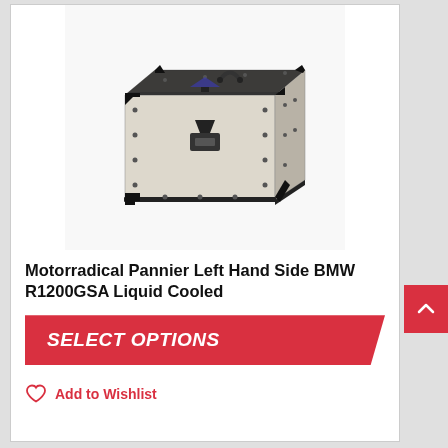[Figure (photo): A motorcycle aluminum pannier box (luggage case) with black trim and rivets, shown at an angle on a white background. The case is light silver/aluminum colored with black corner protectors and latches.]
Motorradical Pannier Left Hand Side BMW R1200GSA Liquid Cooled
SELECT OPTIONS
Add to Wishlist